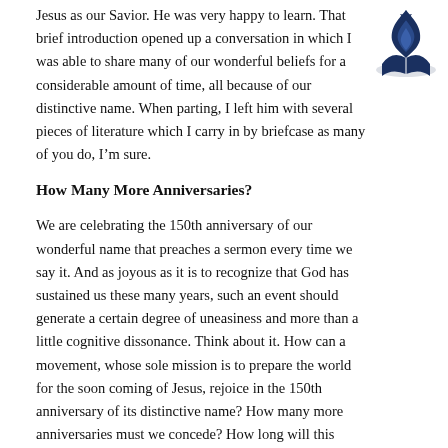Jesus as our Savior.  He was very happy to learn. That brief introduction opened up a conversation in which I was able to share many of our wonderful beliefs for a considerable amount of time, all because of our distinctive name.  When parting, I left him with several pieces of literature which I carry in by briefcase as many of you do, I’m sure.
[Figure (logo): Seventh-day Adventist Church flame and open Bible logo in dark navy blue]
How Many More Anniversaries?
We are celebrating the 150th anniversary of our wonderful name that preaches a sermon every time we say it.  And as joyous as it is to recognize that God has sustained us these many years, such an event should generate a certain degree of uneasiness and more than a little cognitive dissonance. Think about it. How can a movement, whose sole mission is to prepare the world for the soon coming of Jesus, rejoice in the 150th anniversary of its distinctive name? How many more anniversaries must we concede?  How long will this movement continue before the Lord returns?  I believe it is high time that we allow this precious name, Seventh-day Adventist, to represent our true identity as God’s remnant